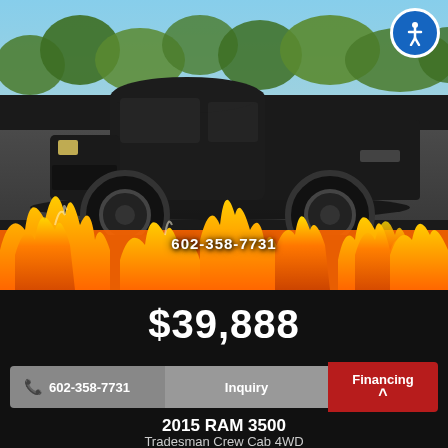[Figure (photo): Black lifted pickup truck (Ford F-250/350 style) photographed in a parking lot with trees and blue sky in background. Flame graphics overlay on lower portion of image. Phone number 602-358-7731 displayed over image. Accessibility icon in top-right corner.]
$39,888
📞 602-358-7731   Inquiry   Financing
2015 RAM 3500
Tradesman Crew Cab 4WD